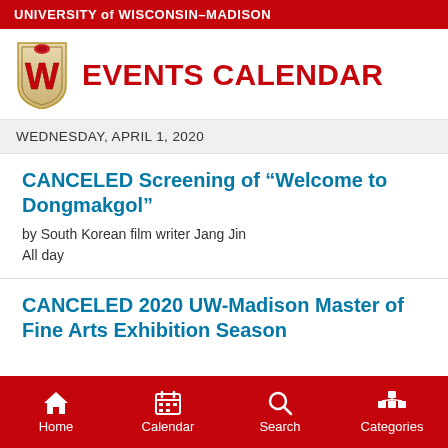UNIVERSITY of WISCONSIN–MADISON
EVENTS CALENDAR
WEDNESDAY, APRIL 1, 2020
CANCELED Screening of “Welcome to Dongmakgol”
by South Korean film writer Jang Jin
All day
CANCELED 2020 UW-Madison Master of Fine Arts Exhibition Season
Home  Calendar  Search  Categories